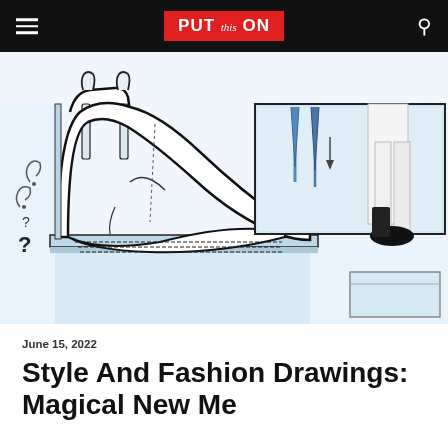PUT this ON
[Figure (illustration): Comic-style illustration of a Chelsea boot in a shoe store setting, with blue and black line art. A large boot is centered, with display shelves, ties, and other shoes visible in the background.]
June 15, 2022
Style And Fashion Drawings: Magical New Me